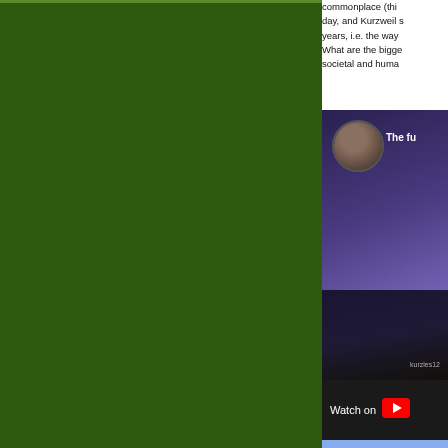[Figure (other): Dark green panel occupying the left portion of the page, with a slightly lighter green border at the top]
commonplace (thi... day, and Kurzweil s... years, i.e. the way ... What are the bigge... societal and huma...
[Figure (screenshot): Embedded YouTube video thumbnail showing a dark purple/blue gradient background with a circular avatar of a person in dark clothing on the left, and partial title text 'The fu...' on the right. A dark overlay panel at the bottom shows a kurzgesagt-style label. Below the thumbnail is a 'Watch on YouTube' bar with a YouTube play icon. Below that is a blue panel with partial illustrated figures.]